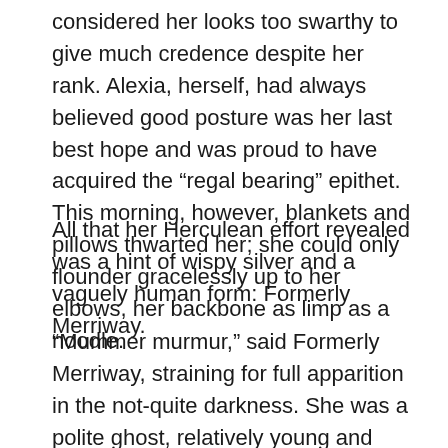considered her looks too swarthy to give much credence despite her rank. Alexia, herself, had always believed good posture was her last best hope and was proud to have acquired the “regal bearing” epithet. This morning, however, blankets and pillows thwarted her; she could only flounder gracelessly up to her elbows, her backbone as limp as a noodle.
All that her Herculean effort revealed was a hint of wispy silver and a vaguely human form: Formerly Merriway.
“Mummer murmur,” said Formerly Merriway, straining for full apparition in the not-quite darkness. She was a polite ghost, relatively young and well preserved, and still entirely sane.